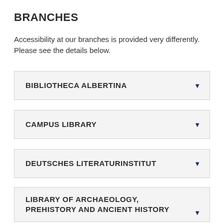BRANCHES
Accessibility at our branches is provided very differently. Please see the details below.
BIBLIOTHECA ALBERTINA
CAMPUS LIBRARY
DEUTSCHES LITERATURINSTITUT
LIBRARY OF EDUCATION AND SPORTS
LIBRARY OF ARCHAEOLOGY, PREHISTORY AND ANCIENT HISTORY